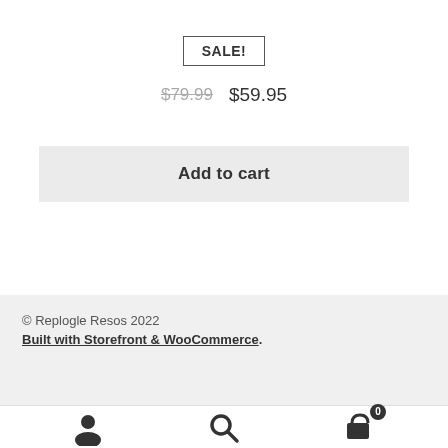SALE!
$79.99  $59.95
Add to cart
© Replogle Resos 2022
Built with Storefront & WooCommerce.
[Figure (infographic): Bottom navigation bar with person/account icon, search icon, and shopping cart icon with badge showing 0]